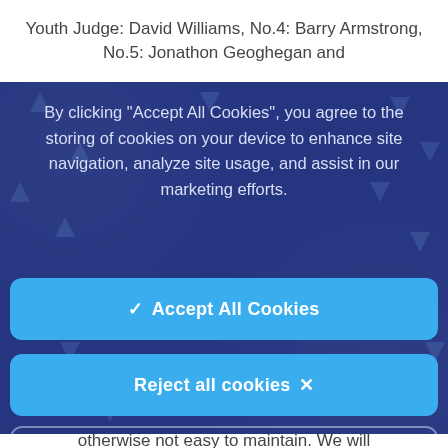Youth Judge: David Williams, No.4: Barry Armstrong, No.5: Jonathon Geoghegan and
By clicking “Accept All Cookies”, you agree to the storing of cookies on your device to enhance site navigation, analyze site usage, and assist in our marketing efforts.
✓  Accept All Cookies
Reject all cookies ✕
Change Settings  ⚙
otherwise not easy to maintain. We will